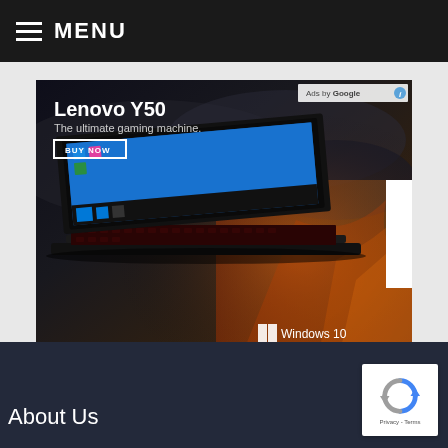MENU
[Figure (screenshot): Lenovo Y50 advertisement banner. Dark stormy background with a Lenovo Y50 gaming laptop open showing Windows 10 desktop. Text reads: 'Lenovo Y50 - The ultimate gaming machine.' with a 'BUY NOW' button. Lenovo logo on right side badge. Windows 10 logo and text at bottom right. 'Ads by Google' label at top right.]
About Us